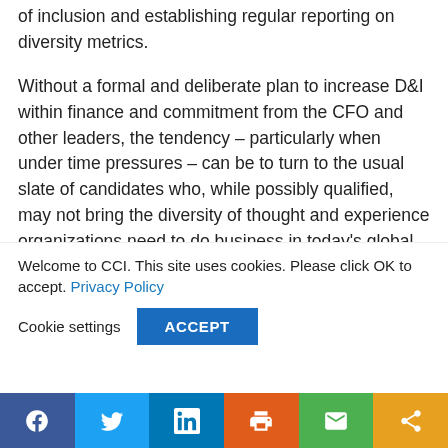of inclusion and establishing regular reporting on diversity metrics.
Without a formal and deliberate plan to increase D&I within finance and commitment from the CFO and other leaders, the tendency – particularly when under time pressures – can be to turn to the usual slate of candidates who, while possibly qualified, may not bring the diversity of thought and experience organizations need to do business in today's global marketplace. CFOs, known for their rigor in planning for capital
Welcome to CCI. This site uses cookies. Please click OK to accept. Privacy Policy
Cookie settings   ACCEPT